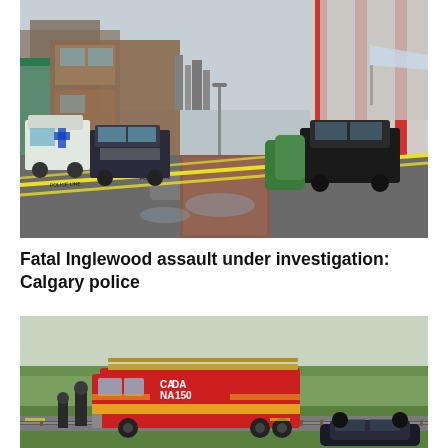[Figure (photo): Crime scene photo showing a wet urban street with yellow police tape across it. Police vehicles and an ambulance are visible on the left side. Buildings line both sides of the street, with red pillars of a modern building on the right. A parked black SUV is in the foreground right. City skyline visible in background.]
Fatal Inglewood assault under investigation: Calgary police
[Figure (photo): A red and yellow fire truck with 'CANADA 150' markings is parked on grass near a road. Firefighters are visible beside the truck. An overturned dark vehicle (SUV) is visible in the foreground right. Green grassy hills and a railway track are visible in the background.]